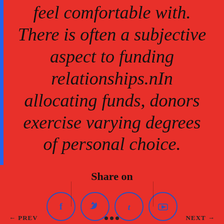feel comfortable with. There is often a subjective aspect to funding relationships.nIn allocating funds, donors exercise varying degrees of personal choice.
Share on
[Figure (infographic): Four social media share buttons in circles: Facebook (f), Twitter (bird), Tumblr (t), YouTube (play button), outlined in blue on red background]
← PREV  ··· NEXT →